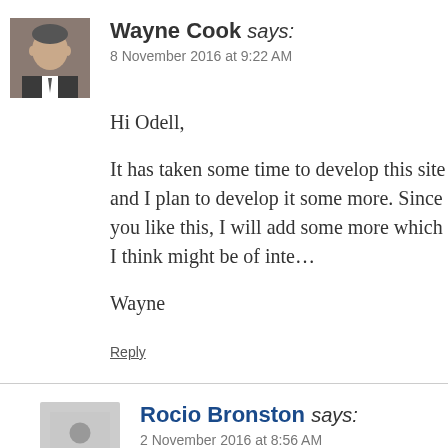[Figure (photo): Profile photo of Wayne Cook, a man in a suit]
Wayne Cook says:
8 November 2016 at 9:22 AM
Hi Odell,
It has taken some time to develop this site and I plan to develop it some more. Since you like this, I will add some more which I think might be of interest.
Wayne
Reply
[Figure (illustration): Generic grey avatar placeholder for Rocio Bronston]
Rocio Bronston says:
2 November 2016 at 8:56 AM
Thank you for helping out, wonderful information
Reply